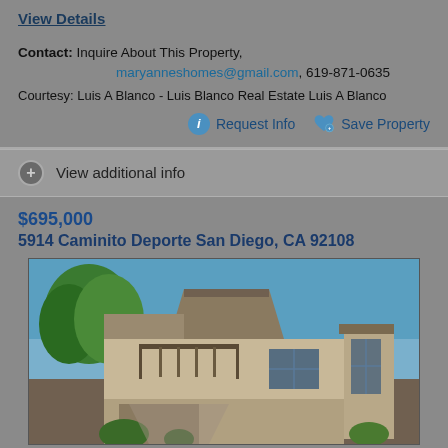View Details
Contact: Inquire About This Property, maryanneshomes@gmail.com, 619-871-0635
Courtesy: Luis A Blanco - Luis Blanco Real Estate Luis A Blanco
Request Info   Save Property
View additional info
$695,000
5914 Caminito Deporte San Diego, CA 92108
[Figure (photo): Exterior photo of a two-story residential property with wood and stone facade, balcony, and surrounding trees against a blue sky.]